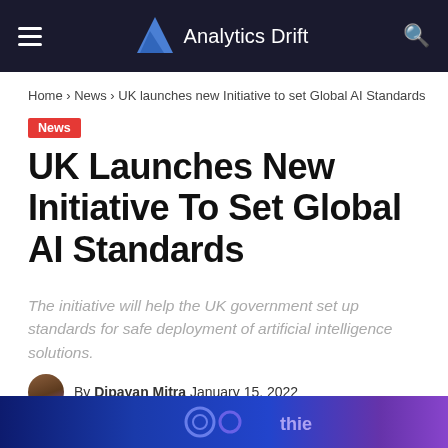Analytics Drift
Home › News › UK launches new Initiative to set Global AI Standards
News
UK Launches New Initiative To Set Global AI Standards
The initiative will help the UK government set up standards for safe deployment of artificial intelligence solutions.
By Dipayan Mitra January 15, 2022
[Figure (photo): Bottom banner image with dark blue and purple tones showing gears and text elements]